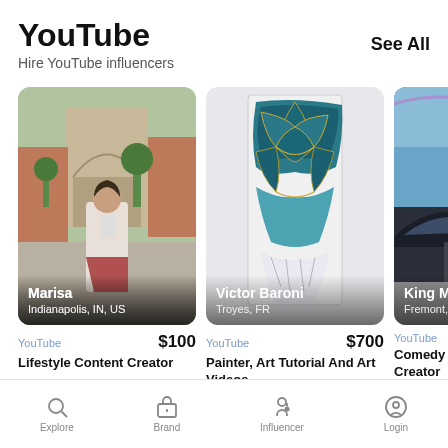YouTube
Hire YouTube influencers
See All
[Figure (photo): Photo of Marisa, a young woman taking a selfie in front of a large stone arch monument in a plaza. Name overlay: Marisa, Indianapolis, IN, US]
YouTube   $100
Lifestyle Content Creator
[Figure (photo): Photo of an abstract teal and silver resin painting displayed vertically. Name overlay: Victor Baroni, Troyes, FR]
YouTube   $700
Painter, Art Tutorial And Art Videos
[Figure (photo): Partially visible photo of a dark car under a blue sky. Name overlay: King Mox, Fremont, C...]
YouTube
Comedy C... Creator
Explore   Brand   Influencer   Login